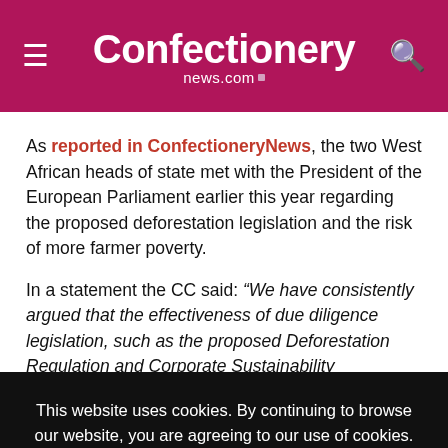Confectionery news.com
As reported in ConfectioneryNews, the two West African heads of state met with the President of the European Parliament earlier this year regarding the proposed deforestation legislation and the risk of more farmer poverty.
In a statement the CC said: “We have consistently argued that the effectiveness of due diligence legislation, such as the proposed Deforestation Regulation and Corporate Sustainability
This website uses cookies. By continuing to browse our website, you are agreeing to our use of cookies. You can learn more about cookies by visiting our privacy & cookies policy page.